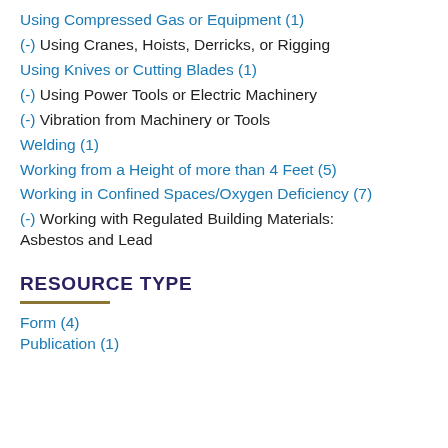Using Compressed Gas or Equipment (1)
(-) Using Cranes, Hoists, Derricks, or Rigging
Using Knives or Cutting Blades (1)
(-) Using Power Tools or Electric Machinery
(-) Vibration from Machinery or Tools
Welding (1)
Working from a Height of more than 4 Feet (5)
Working in Confined Spaces/Oxygen Deficiency (7)
(-) Working with Regulated Building Materials: Asbestos and Lead
RESOURCE TYPE
Form (4)
Publication (1)